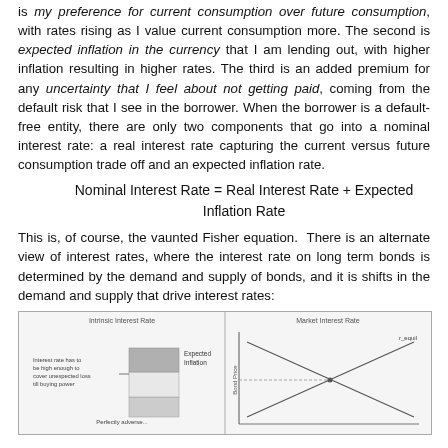is my preference for current consumption over future consumption, with rates rising as I value current consumption more. The second is expected inflation in the currency that I am lending out, with higher inflation resulting in higher rates. The third is an added premium for any uncertainty that I feel about not getting paid, coming from the default risk that I see in the borrower. When the borrower is a default-free entity, there are only two components that go into a nominal interest rate: a real interest rate capturing the current versus future consumption trade off and an expected inflation rate.
This is, of course, the vaunted Fisher equation.  There is an alternate view of interest rates, where the interest rate on long term bonds is determined by the demand and supply of bonds, and it is shifts in the demand and supply that drive interest rates:
[Figure (schematic): Two side-by-side diagrams. Left: Intrinsic Interest Rate bar chart showing stacked components including 'Expected Inflation' and 'Perfectly adverse...' labels, with annotation 'Interest rate has to be high enough to cover unexpected loss till buying power'. Right: Market Interest Rate supply and demand cross diagram with axes for Bond Price and interest rate, showing supply and demand curves intersecting, with r_equil label.]